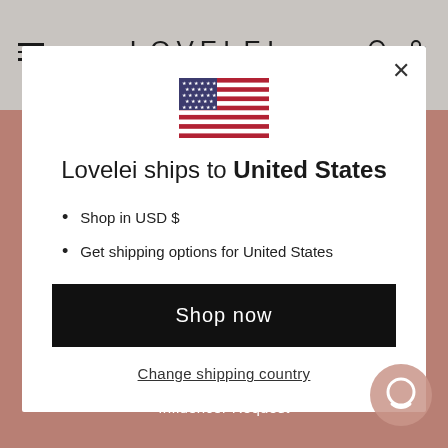LOVELEI
[Figure (illustration): US flag emoji/icon centered in modal]
Lovelei ships to United States
Shop in USD $
Get shipping options for United States
Shop now
Change shipping country
FAQ
Influencer Request